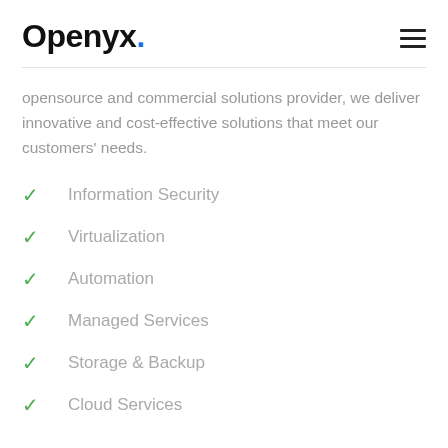Openyx.
opensource and commercial solutions provider, we deliver innovative and cost-effective solutions that meet our customers' needs.
Information Security
Virtualization
Automation
Managed Services
Storage & Backup
Cloud Services